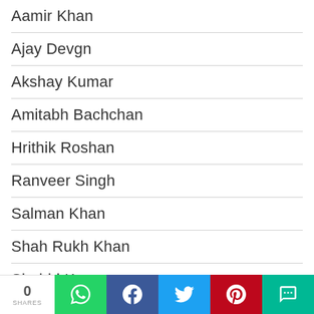Aamir Khan
Ajay Devgn
Akshay Kumar
Amitabh Bachchan
Hrithik Roshan
Ranveer Singh
Salman Khan
Shah Rukh Khan
Shahid Kapoor
0 SHARES | WhatsApp | Facebook | Twitter | Pinterest | SMS